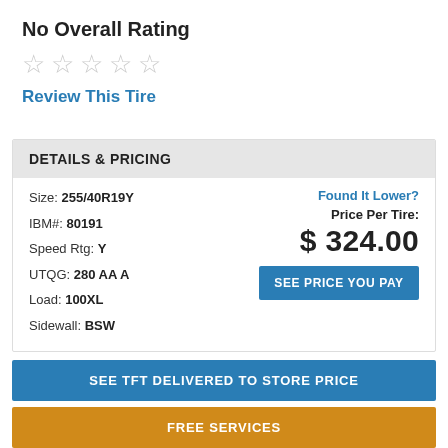No Overall Rating
[Figure (other): Five empty star rating icons indicating no rating]
Review This Tire
DETAILS & PRICING
Size: 255/40R19Y
IBM#: 80191
Speed Rtg: Y
UTQG: 280 AA A
Load: 100XL
Sidewall: BSW
Found It Lower?
Price Per Tire:
$ 324.00
SEE PRICE YOU PAY
SEE TFT DELIVERED TO STORE PRICE
FREE SERVICES
CALL TIRE EXPERT